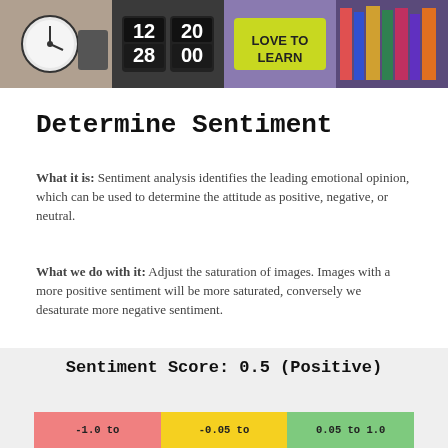[Figure (photo): Strip of four photos: alarm clock, flip clock showing 12:28, 'LOVE TO LEARN' pencil sign, bookshelf]
Determine Sentiment
What it is:  Sentiment analysis identifies the leading emotional opinion, which can be used to determine the attitude as positive, negative, or neutral.
What we do with it:  Adjust the saturation of images. Images with a more positive sentiment will be more saturated, conversely we desaturate more negative sentiment.
[Figure (infographic): Sentiment score display showing 'Sentiment Score: 0.5 (Positive)' with a color bar: red for negative (-1 to ~-0.05), yellow for neutral (-0.05 to 0.05), green for positive (0.05 to 1.0)]